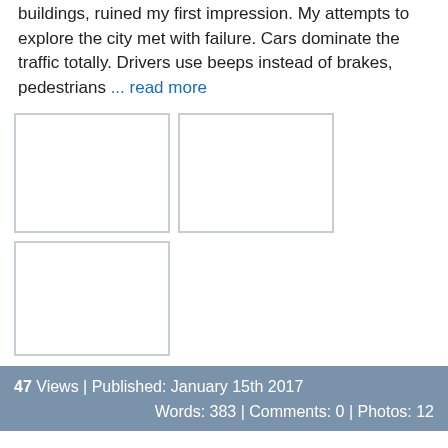buildings, ruined my first impression. My attempts to explore the city met with failure. Cars dominate the traffic totally. Drivers use beeps instead of brakes, pedestrians ... read more
[Figure (photo): Three image placeholders shown as white boxes with gray borders arranged in a 2+1 grid layout]
47 Views | Published: January 15th 2017 Words: 383 | Comments: 0 | Photos: 12
Hyderabad, capital of Andhra Pradesh, TA